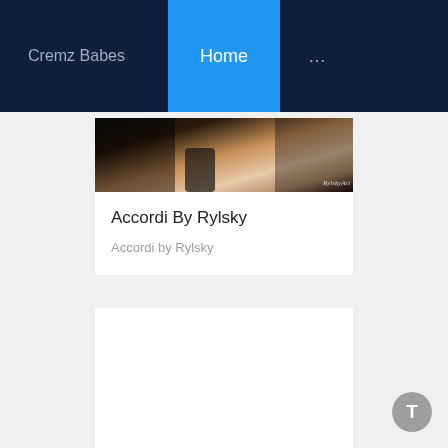Cremz Babes | Home | ...
[Figure (photo): Partial view of a person photographed in dark tones with a watermark reading 'RylskyArt' in the lower right corner]
Accordi By Rylsky
Accordi by Rylsky
[Figure (other): Empty white card/loading placeholder]